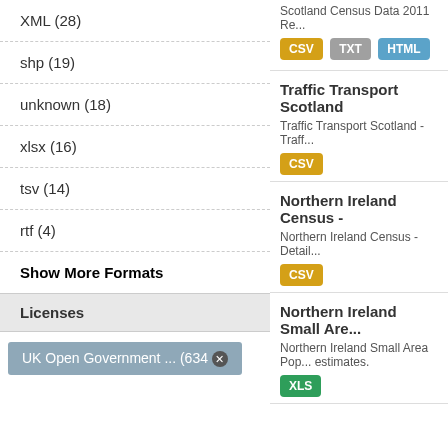XML (28)
shp (19)
unknown (18)
xlsx (16)
tsv (14)
rtf (4)
Show More Formats
Licenses
UK Open Government ... (634 ×)
Scotland Census Data 2011 Re...
CSV TXT HTML
Traffic Transport Scotland
Traffic Transport Scotland - Traff...
CSV
Northern Ireland Census -
Northern Ireland Census - Detail...
CSV
Northern Ireland Small Are...
Northern Ireland Small Area Pop... estimates.
XLS